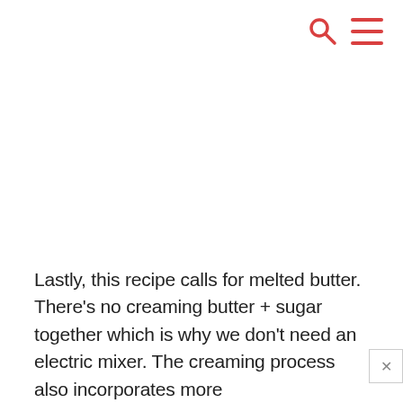[Figure (other): Red search icon and red hamburger menu icon in the top right corner]
Lastly, this recipe calls for melted butter. There's no creaming butter + sugar together which is why we don't need an electric mixer. The creaming process also incorporates more air into the dough which we don't want. Instead, we want bars that are more dense and